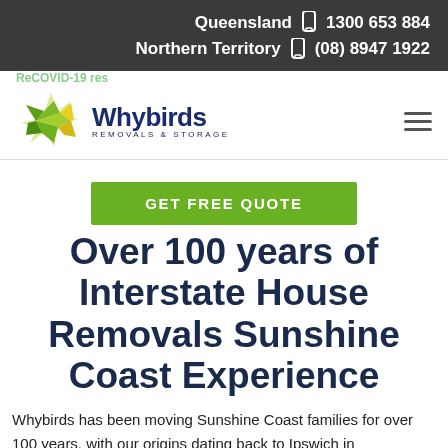Queensland 1300 653 884
Northern Territory (08) 8947 1922
[Figure (logo): Whybirds Removals & Storage logo with geometric star/leaf shape in green and yellow]
GET FREE QUOTE
Over 100 years of Interstate House Removals Sunshine Coast Experience
Whybirds has been moving Sunshine Coast families for over 100 years, with our origins dating back to Ipswich in